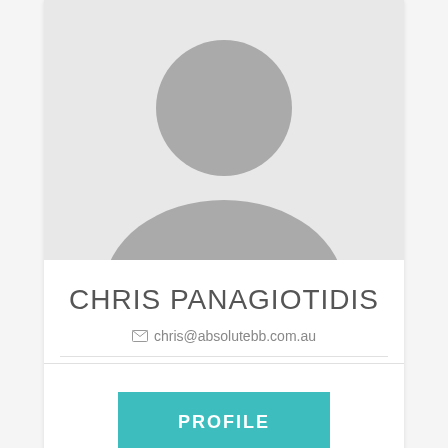[Figure (illustration): Default user avatar placeholder image: gray circle head and gray semi-circle body on light gray background]
CHRIS PANAGIOTIDIS
chris@absolutebb.com.au
[Figure (other): PROFILE button — teal/cyan rectangular button with white text]